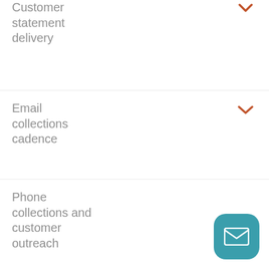Customer statement delivery
Email collections cadence
Phone collections and customer outreach
Evaluate cash flow needs
[Figure (illustration): Teal rounded square mail/envelope button in bottom right corner]